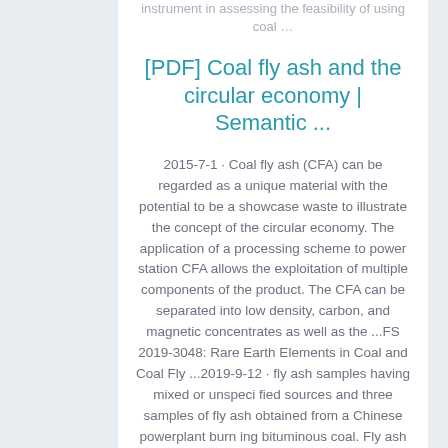instrument in assessing the feasibility of using coal …
[PDF] Coal fly ash and the circular economy | Semantic ...
2015-7-1 · Coal fly ash (CFA) can be regarded as a unique material with the potential to be a showcase waste to illustrate the concept of the circular economy. The application of a processing scheme to power station CFA allows the exploitation of multiple components of the product. The CFA can be separated into low density, carbon, and magnetic concentrates as well as the ...FS 2019-3048: Rare Earth Elements in Coal and Coal Fly ...2019-9-12 · fly ash samples having mixed or unspeci fied sources and three samples of fly ash obtained from a Chinese powerplant burn ing bituminous coal. Fly ash samples from the central Appalachian basin